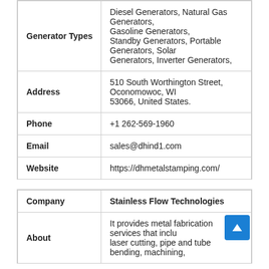| Generator Types | Diesel Generators, Natural Gas Generators, Gasoline Generators, Standby Generators, Portable Generators, Solar Generators, Inverter Generators, |
| Address | 510 South Worthington Street, Oconomowoc, WI 53066, United States. |
| Phone | +1 262-569-1960 |
| Email | sales@dhind1.com |
| Website | https://dhmetalstamping.com/ |
| Company | Stainless Flow Technologies |
| About | It provides metal fabrication services that include laser cutting, pipe and tube bending, machining, |